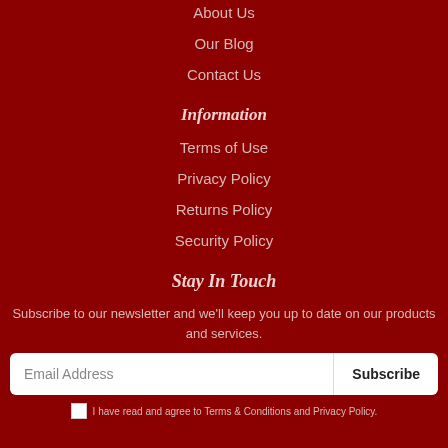About Us
Our Blog
Contact Us
Information
Terms of Use
Privacy Policy
Returns Policy
Security Policy
Stay In Touch
Subscribe to our newsletter and we'll keep you up to date on our products and services.
Email Address | Subscribe
I have read and agree to Terms & Conditions and Privacy Policy.